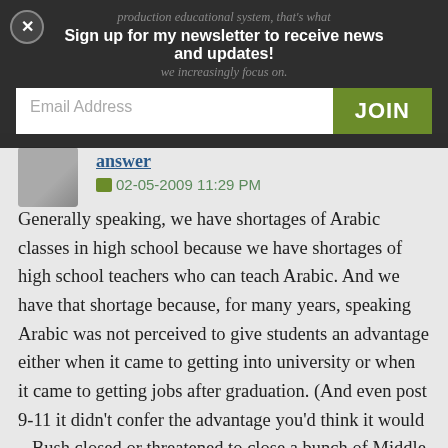production educational system, that's what we increasingly focus on.
Sign up for my newsletter to receive news and updates!
Email Address
JOIN
answer
02-05-2009 11:29 PM
Generally speaking, we have shortages of Arabic classes in high school because we have shortages of high school teachers who can teach Arabic. And we have that shortage because, for many years, speaking Arabic was not perceived to give students an advantage either when it came to getting into university or when it came to getting jobs after graduation. (And even post 9-11 it didn't confer the advantage you'd think it would – Bush closed or threatened to close a bunch of Middle Eastern Studies depts, thus depriving American education of Arabic teachers at the very point when Arabic was